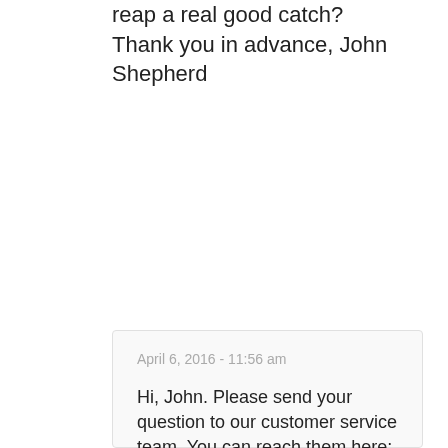reap a real good catch? Thank you in advance, John Shepherd
Reply
April 6, 2016 - 11:56 am
Hi, John. Please send your question to our customer service team. You can reach them here: http://www.gardeners.com/on/demandware.store/Sites-Gardeners-Site/default/CustomerService-ContactUs